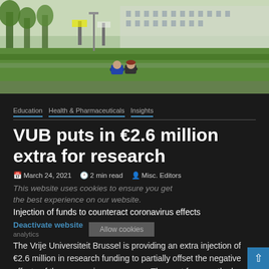[Figure (photo): Two students sitting on grass in front of a university building, viewed from behind. One wearing blue, one wearing dark jacket with red cap.]
Education  Health & Pharmaceuticals  Insights
VUB puts in €2.6 million extra for research
March 24, 2021  2 min read  Misc. Editors
This website uses cookies to ensure you get the best experience on our website.
Injection of funds to counteract coronavirus effects
Deactivate website analytics  Allow cookies
The Vrije Universiteit Brussel is providing an extra injection of €2.6 million in research funding to partially offset the negative effects of the coronavirus measures. The past few months have been difficult for scientific research. Not